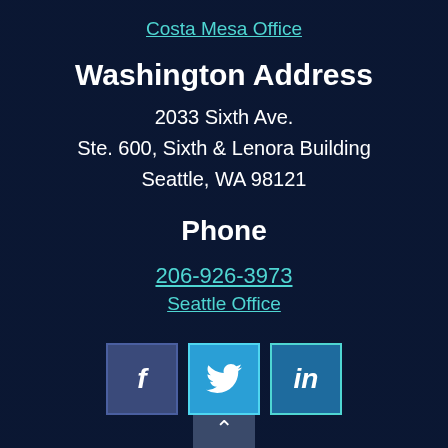Costa Mesa Office
Washington Address
2033 Sixth Ave.
Ste. 600, Sixth & Lenora Building
Seattle, WA 98121
Phone
206-926-3973
Seattle Office
[Figure (infographic): Social media icon buttons: Facebook (f), Twitter (bird icon), LinkedIn (in)]